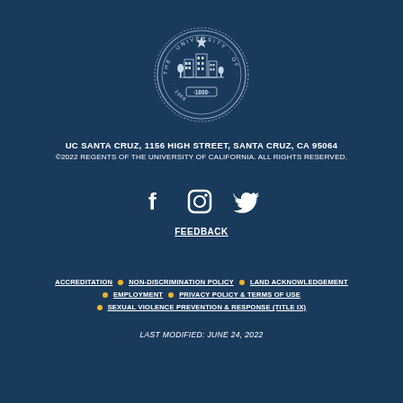[Figure (logo): UC Santa Cruz University of California seal — circular emblem with building, star, and '1868' text, white on dark blue background]
UC SANTA CRUZ, 1156 HIGH STREET, SANTA CRUZ, CA 95064
©2022 REGENTS OF THE UNIVERSITY OF CALIFORNIA. ALL RIGHTS RESERVED.
[Figure (illustration): Social media icons: Facebook (f), Instagram (camera square), Twitter (bird) — white icons on dark blue background]
FEEDBACK
ACCREDITATION
NON-DISCRIMINATION POLICY
LAND ACKNOWLEDGEMENT
EMPLOYMENT
PRIVACY POLICY & TERMS OF USE
SEXUAL VIOLENCE PREVENTION & RESPONSE (TITLE IX)
LAST MODIFIED: JUNE 24, 2022